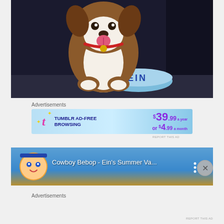[Figure (illustration): Anime illustration of Ein the corgi dog from Cowboy Bebop, sitting with tongue out wearing a red collar with a gold tag, next to a light blue dog bowl labeled EIN, dark background]
Advertisements
[Figure (other): Tumblr ad banner: TUMBLR AD-FREE BROWSING $39.99 a year or $4.99 a month, light blue gradient background with pink Tumblr t logo and stars]
REPORT THIS AD
[Figure (screenshot): YouTube video thumbnail showing Cowboy Bebop - Ein's Summer Va... with anime avatar and three-dot menu]
Advertisements
REPORT THIS AD